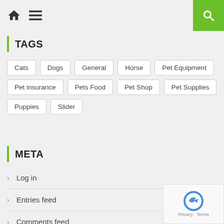Home | Menu | Search
TAGS
Cats
Dogs
General
Horse
Pet Equipment
Pet insurance
Pets Food
Pet Shop
Pet Supplies
Puppies
Slider
META
Log in
Entries feed
Comments feed